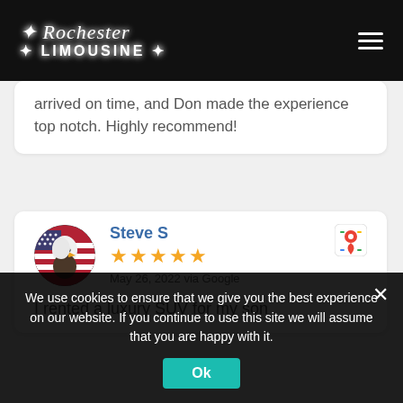Rochester Limousine
arrived on time, and Don made the experience top notch. Highly recommend!
Steve S
★★★★★
May 26, 2022 via Google
I rented a luxury SUV for my son
We use cookies to ensure that we give you the best experience on our website. If you continue to use this site we will assume that you are happy with it.